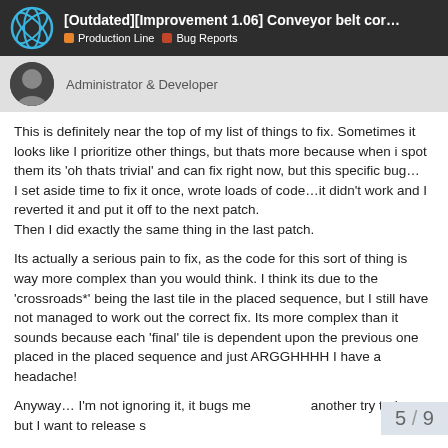[Outdated][Improvement 1.06] Conveyor belt cor... | Production Line | Bug Reports
Administrator & Developer
This is definitely near the top of my list of things to fix. Sometimes it looks like I prioritize other things, but thats more because when i spot them its 'oh thats trivial' and can fix right now, but this specific bug…
I set aside time to fix it once, wrote loads of code…it didn't work and I reverted it and put it off to the next patch.
Then I did exactly the same thing in the last patch.
Its actually a serious pain to fix, as the code for this sort of thing is way more complex than you would think. I think its due to the 'crossroads*' being the last tile in the placed sequence, but I still have not managed to work out the correct fix. Its more complex than it sounds because each 'final' tile is dependent upon the previous one placed in the placed sequence and just ARGGHHHH I have a headache!
Anyway… I'm not ignoring it, it bugs me another try today, but I want to release s
5 / 9